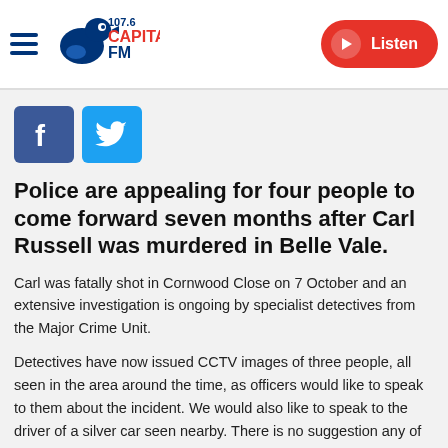107.6 Capital FM — Listen
[Figure (logo): Capital FM 107.6 radio station logo with blue bird mascot]
Police are appealing for four people to come forward seven months after Carl Russell was murdered in Belle Vale.
Carl was fatally shot in Cornwood Close on 7 October and an extensive investigation is ongoing by specialist detectives from the Major Crime Unit.
Detectives have now issued CCTV images of three people, all seen in the area around the time, as officers would like to speak to them about the incident. We would also like to speak to the driver of a silver car seen nearby. There is no suggestion any of the people in the images were involved